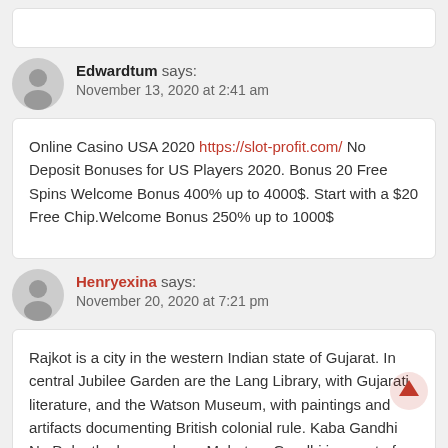Edwardtum says: November 13, 2020 at 2:41 am
Online Casino USA 2020 https://slot-profit.com/ No Deposit Bonuses for US Players 2020. Bonus 20 Free Spins Welcome Bonus 400% up to 4000$. Start with a $20 Free Chip.Welcome Bonus 250% up to 1000$
Henryexina says: November 20, 2020 at 7:21 pm
Rajkot is a city in the western Indian state of Gujarat. In central Jubilee Garden are the Lang Library, with Gujarati literature, and the Watson Museum, with paintings and artifacts documenting British colonial rule. Kaba Gandhi No Delo, the house where Mahatma Gandhi is a part of his